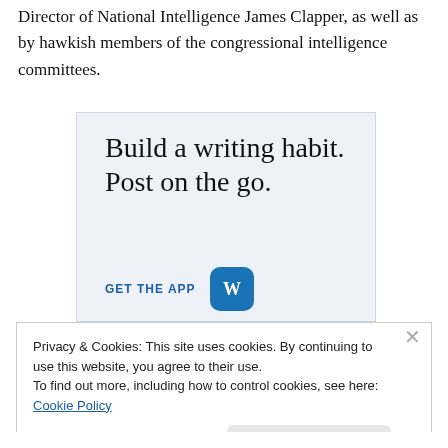Director of National Intelligence James Clapper, as well as by hawkish members of the congressional intelligence committees.
[Figure (illustration): WordPress app advertisement with light blue background. Large serif text reads 'Build a writing habit. Post on the go.' with 'GET THE APP' call-to-action in blue uppercase letters and WordPress logo icon.]
Privacy & Cookies: This site uses cookies. By continuing to use this website, you agree to their use.
To find out more, including how to control cookies, see here: Cookie Policy
Close and accept